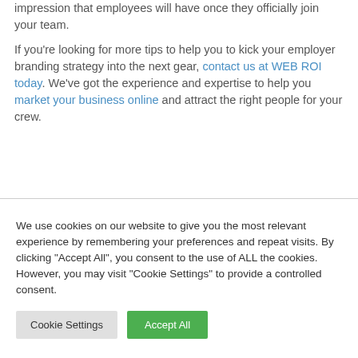impression that employees will have once they officially join your team.

If you're looking for more tips to help you to kick your employer branding strategy into the next gear, contact us at WEB ROI today. We've got the experience and expertise to help you market your business online and attract the right people for your crew.
We use cookies on our website to give you the most relevant experience by remembering your preferences and repeat visits. By clicking "Accept All", you consent to the use of ALL the cookies. However, you may visit "Cookie Settings" to provide a controlled consent.